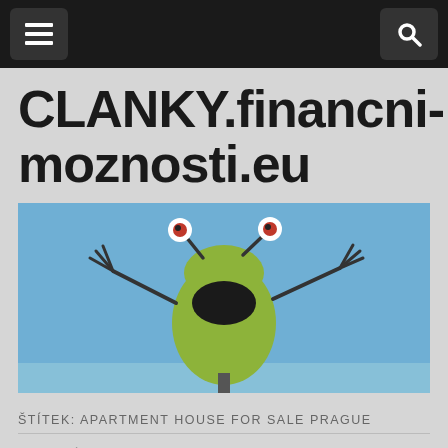CLANKY.financni-moznosti.eu
[Figure (photo): A green cartoon frog sculpture with googly eyes and outstretched arms against a blue sky background]
ŠTÍTEK: APARTMENT HOUSE FOR SALE PRAGUE
OSTATNÍ
Prague apartment house for sale
by numberone • 5.1.2014